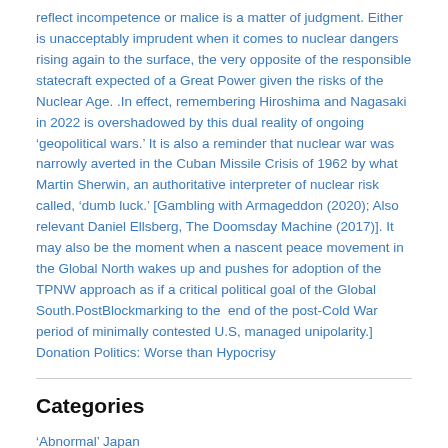reflect incompetence or malice is a matter of judgment. Either is unacceptably imprudent when it comes to nuclear dangers rising again to the surface, the very opposite of the responsible statecraft expected of a Great Power given the risks of the Nuclear Age. .In effect, remembering Hiroshima and Nagasaki in 2022 is overshadowed by this dual reality of ongoing 'geopolitical wars.' It is also a reminder that nuclear war was narrowly averted in the Cuban Missile Crisis of 1962 by what Martin Sherwin, an authoritative interpreter of nuclear risk called, 'dumb luck.' [Gambling with Armageddon (2020); Also relevant Daniel Ellsberg, The Doomsday Machine (2017)]. It may also be the moment when a nascent peace movement in the Global North wakes up and pushes for adoption of the TPNW approach as if a critical political goal of the Global South.PostBlockmarking to the  end of the post-Cold War period of minimally contested U.S, managed unipolarity.] Donation Politics: Worse than Hypocrisy
Categories
'Abnormal' Japan